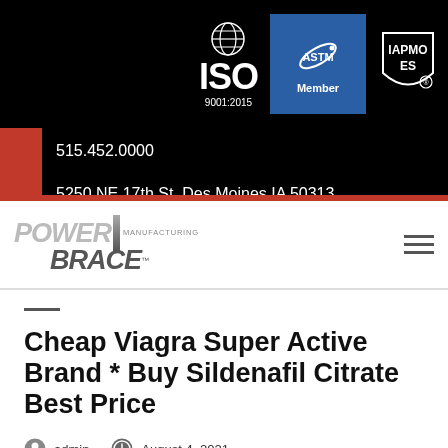[Figure (logo): ISO 9001:2015 globe logo, ASTM Member logo, IAPMO ES shield logo on black background]
515.452.0000
5250 NE 17th St. Des Moines,IA 50313
[Figure (logo): Power Brace Manufacturing logo]
Cheap Viagra Super Active Brand * Buy Sildenafil Citrate Best Price
admin   August 4, 2021